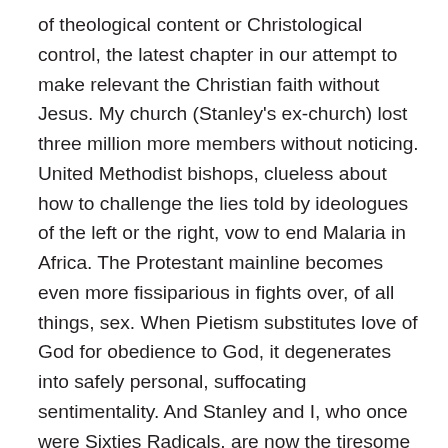of theological content or Christological control, the latest chapter in our attempt to make relevant the Christian faith without Jesus. My church (Stanley's ex-church) lost three million more members without noticing. United Methodist bishops, clueless about how to challenge the lies told by ideologues of the left or the right, vow to end Malaria in Africa. The Protestant mainline becomes even more fissiparious in fights over, of all things, sex. When Pietism substitutes love of God for obedience to God, it degenerates into safely personal, suffocating sentimentality. And Stanley and I, who once were Sixties Radicals, are now the tiresome old guys on the Divinity School faculty complaining about the theological antics of the kids. All of which goes to show that if you don't like something said by a theologian, just be patient; only God is eternal and God eventually takes out all theologians